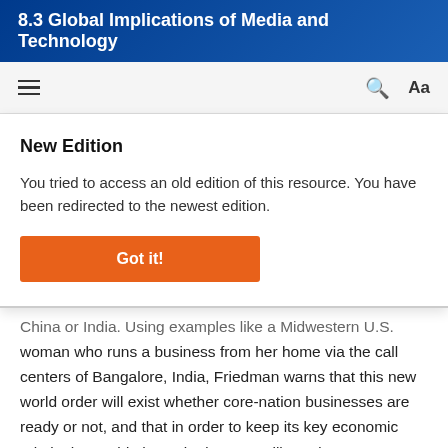8.3 Global Implications of Media and Technology
New Edition
You tried to access an old edition of this resource. You have been redirected to the newest edition.
Got it!
China or India. Using examples like a Midwestern U.S. woman who runs a business from her home via the call centers of Bangalore, India, Friedman warns that this new world order will exist whether core-nation businesses are ready or not, and that in order to keep its key economic role in the world, the United States will need to pay attention to how it prepares workers of the twenty-first century for this dynamic.